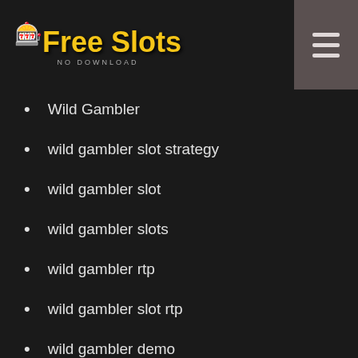Free Slots No Download
Wild Gambler
wild gambler slot strategy
wild gambler slot
wild gambler slots
wild gambler rtp
wild gambler slot rtp
wild gambler demo
wild gambler free play
wild gambler slot game